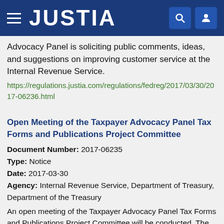JUSTIA
Advocacy Panel is soliciting public comments, ideas, and suggestions on improving customer service at the Internal Revenue Service.
https://regulations.justia.com/regulations/fedreg/2017/03/30/2017-06236.html
Open Meeting of the Taxpayer Advocacy Panel Tax Forms and Publications Project Committee
Document Number: 2017-06235
Type: Notice
Date: 2017-03-30
Agency: Internal Revenue Service, Department of Treasury, Department of the Treasury
An open meeting of the Taxpayer Advocacy Panel Tax Forms and Publications Project Committee will be conducted. The Taxpayer Advocacy Panel is soliciting